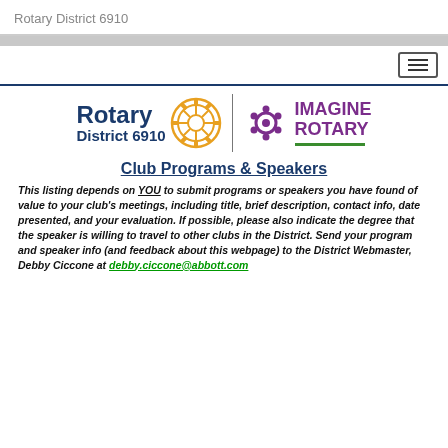Rotary District 6910
[Figure (logo): Rotary District 6910 logo with gear wheel icon and Imagine Rotary branding with purple dots icon and green underline]
Club Programs & Speakers
This listing depends on YOU to submit programs or speakers you have found of value to your club's meetings, including title, brief description, contact info, date presented, and your evaluation.  If possible, please also indicate the degree that the speaker is willing to travel to other clubs in the District.  Send your program and speaker info (and feedback about this webpage) to the District Webmaster, Debby Ciccone at debby.ciccone@abbott.com